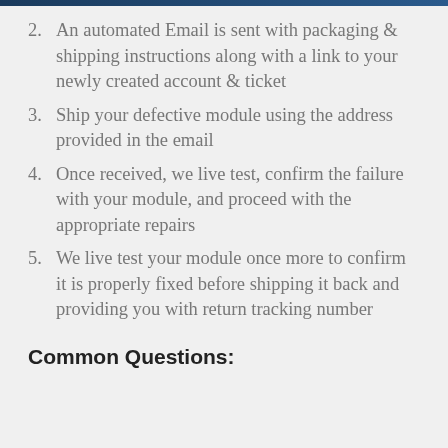2. An automated Email is sent with packaging & shipping instructions along with a link to your newly created account & ticket
3. Ship your defective module using the address provided in the email
4. Once received, we live test, confirm the failure with your module, and proceed with the appropriate repairs
5. We live test your module once more to confirm it is properly fixed before shipping it back and providing you with return tracking number
Common Questions: